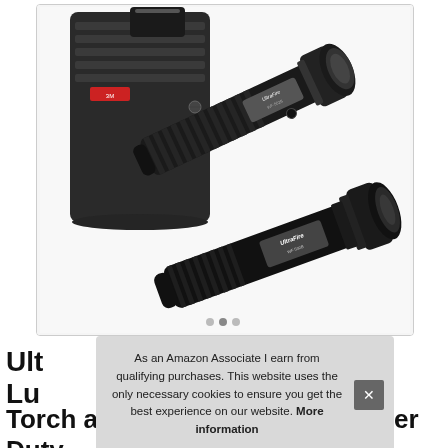[Figure (photo): Product photo showing a black UltraFire tactical flashlight with knurled grip and a black nylon belt holster/pouch with molle straps, on white background]
As an Amazon Associate I earn from qualifying purchases. This website uses the only necessary cookies to ensure you get the best experience on our website. More information
UltraFire Lumens Torch and EDC Flashlight Holster Duty